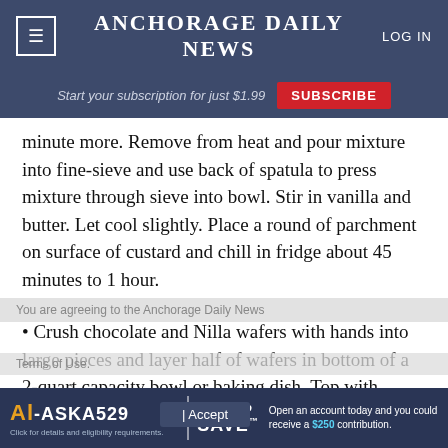ANCHORAGE DAILY NEWS | LOG IN
Start your subscription for just $1.99  SUBSCRIBE
minute more. Remove from heat and pour mixture into fine-sieve and use back of spatula to press mixture through sieve into bowl. Stir in vanilla and butter. Let cool slightly. Place a round of parchment on surface of custard and chill in fridge about 45 minutes to 1 hour.
Crush chocolate and Nilla wafers with hands into large pieces and layer half of wafers in bottom of a 2-quart capacity bowl or baking dish. Top with
[Figure (screenshot): Alaska 529 Dash to Save advertisement banner at bottom of page. Open an account today and you could receive a $250 contribution.]